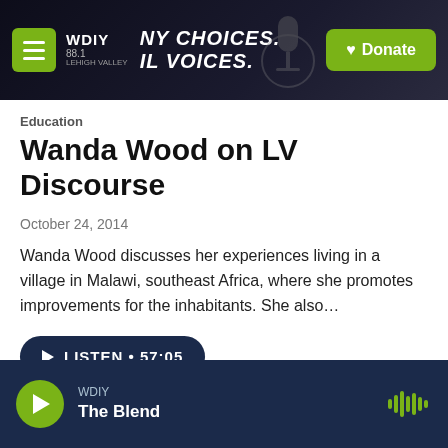[Figure (screenshot): WDIY 88.1 radio station header banner with hamburger menu, WDIY logo, tagline 'NY CHOICES. IL VOICES.', microphone graphic, and green Donate button]
Education
Wanda Wood on LV Discourse
October 24, 2014
Wanda Wood discusses her experiences living in a village in Malawi, southeast Africa, where she promotes improvements for the inhabitants. She also…
LISTEN • 57:05
Load More
WDIY
The Blend